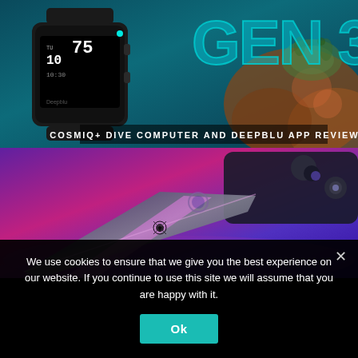[Figure (photo): Promotional banner showing a dive computer smartwatch (Cosmiq+) against an underwater background with coral and a sea turtle, and large text 'GEN 3' in teal letters]
COSMIQ+ DIVE COMPUTER AND DEEPBLU APP REVIEW
[Figure (photo): Promotional banner showing a dark folding knife with a spider logo on a purple and pink illuminated background]
We use cookies to ensure that we give you the best experience on our website. If you continue to use this site we will assume that you are happy with it.